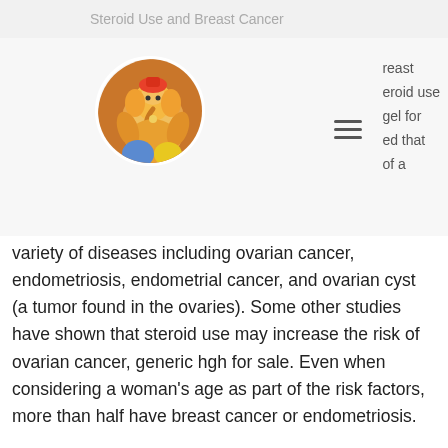Steroid Use and Breast Cancer
[Figure (illustration): Circular avatar image showing a Ganesha illustration with colorful paint. Partially visible text to the right shows clipped lines about breast/steroid use/gel for/ed that/of a. Hamburger menu icon visible.]
variety of diseases including ovarian cancer, endometriosis, endometrial cancer, and ovarian cyst (a tumor found in the ovaries). Some other studies have shown that steroid use may increase the risk of ovarian cancer, generic hgh for sale. Even when considering a woman's age as part of the risk factors, more than half have breast cancer or endometriosis.
Another thing to consider is the fact that anabolic steroids may cause cancerous cells to develop into cancerous tumor cells, bulking 80 kg. For this reason, anabolic steroids should only be used when you have